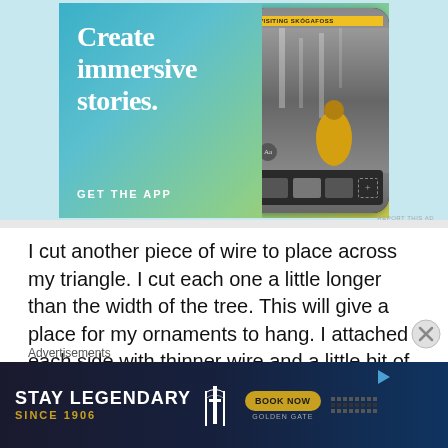[Figure (illustration): Advertisement banner: 'Create immersive stories. GET THE APP' with a phone mockup showing 'VISITING SKÓGAFOSS' travel content app on a gradient teal-to-yellow background.]
REPORT THIS AD
I cut another piece of wire to place across my triangle. I cut each one a little longer than the width of the tree. This will give a place for my ornaments to hang. I attached each side with thinner wire and a little bit of hot glue. I also curled the ends of each
Advertisements
[Figure (illustration): Advertisement banner: 'STAY LEGENDARY SINCE 1906' with Golden Gate hotel branding and 'BOOK NOW' button on dark background.]